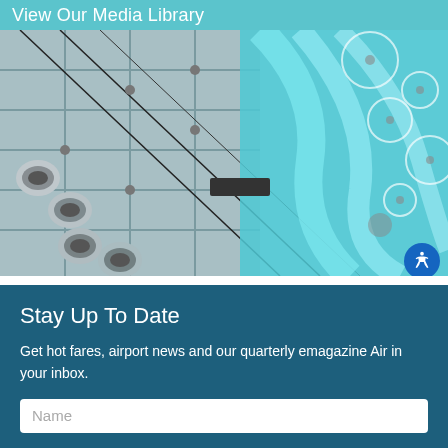View Our Media Library
[Figure (photo): Close-up photo of an industrial HVAC or ventilation system with metal ducts on the left and large transparent aqua/teal colored glass or plastic tubes/bubbles on the right against a tiled metallic background]
Stay Up To Date
Get hot fares, airport news and our quarterly emagazine Air in your inbox.
Name